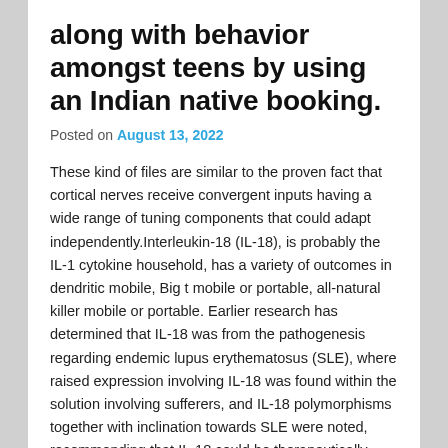along with behavior amongst teens by using an Indian native booking.
Posted on August 13, 2022
These kind of files are similar to the proven fact that cortical nerves receive convergent inputs having a wide range of tuning components that could adapt independently.Interleukin-18 (IL-18), is probably the IL-1 cytokine household, has a variety of outcomes in dendritic mobile, Big t mobile or portable, all-natural killer mobile or portable. Earlier research has determined that IL-18 was from the pathogenesis regarding endemic lupus erythematosus (SLE), where raised expression involving IL-18 was found within the solution involving sufferers, and IL-18 polymorphisms together with inclination towards SLE were noted, recommending that IL-18 could be therapeutically relevant to SLE. On this page, we will focus on the role involving IL-18 in the pathogenesis of and it is therapeutic associations within SLE as well as…